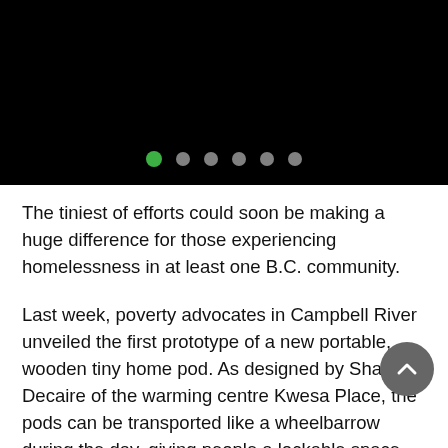[Figure (photo): Black background image with navigation dots at the bottom. One green filled dot (active/first) followed by five white/grey hollow dots arranged horizontally.]
The tiniest of efforts could soon be making a huge difference for those experiencing homelessness in at least one B.C. community.
Last week, poverty advocates in Campbell River unveiled the first prototype of a new portable, wooden tiny home pod. As designed by Shawn Decaire of the warming centre Kwesa Place, the pods can be transported like a wheelbarrow during the day, giving people a lockable space